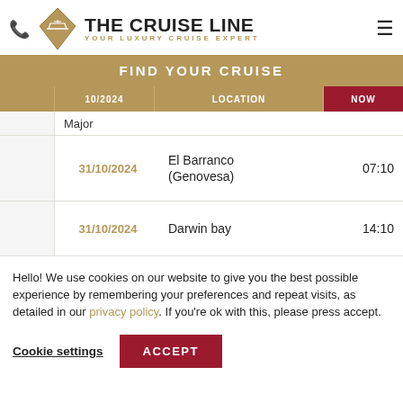THE CRUISE LINE — YOUR LUXURY CRUISE EXPERT
FIND YOUR CRUISE
|  | Date | Location | Time |
| --- | --- | --- | --- |
|  |  | Major |  |
|  | 31/10/2024 | El Barranco (Genovesa) | 07:10 |
|  | 31/10/2024 | Darwin bay | 14:10 |
Hello! We use cookies on our website to give you the best possible experience by remembering your preferences and repeat visits, as detailed in our privacy policy. If you're ok with this, please press accept.
Cookie settings  ACCEPT